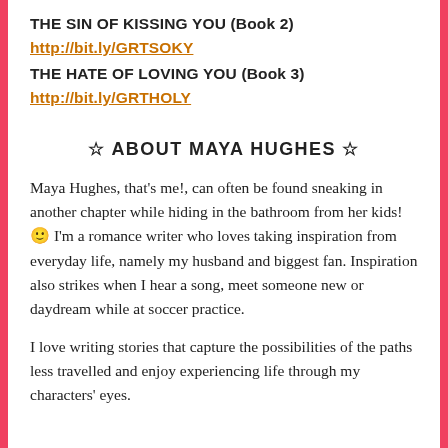THE SIN OF KISSING YOU (Book 2) http://bit.ly/GRTSOKY
THE HATE OF LOVING YOU (Book 3) http://bit.ly/GRTHOLY
☆ ABOUT MAYA HUGHES ☆
Maya Hughes, that's me!, can often be found sneaking in another chapter while hiding in the bathroom from her kids! 🙂 I'm a romance writer who loves taking inspiration from everyday life, namely my husband and biggest fan. Inspiration also strikes when I hear a song, meet someone new or daydream while at soccer practice.
I love writing stories that capture the possibilities of the paths less travelled and enjoy experiencing life through my characters' eyes.